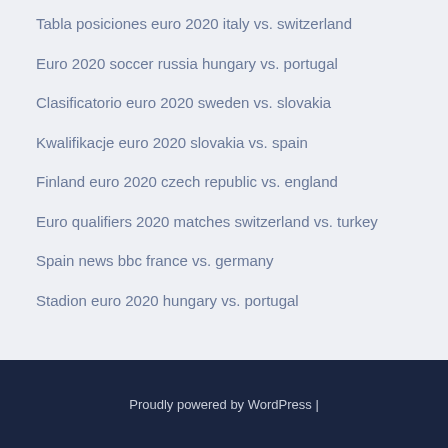Tabla posiciones euro 2020 italy vs. switzerland
Euro 2020 soccer russia hungary vs. portugal
Clasificatorio euro 2020 sweden vs. slovakia
Kwalifikacje euro 2020 slovakia vs. spain
Finland euro 2020 czech republic vs. england
Euro qualifiers 2020 matches switzerland vs. turkey
Spain news bbc france vs. germany
Stadion euro 2020 hungary vs. portugal
Proudly powered by WordPress |